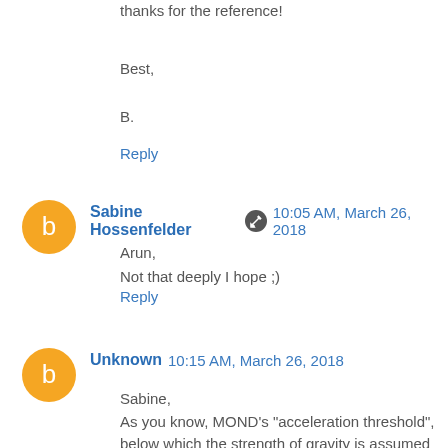thanks for the reference!
Best,
B.
Reply
Sabine Hossenfelder  10:05 AM, March 26, 2018
Arun,
Not that deeply I hope ;)
Reply
Unknown  10:15 AM, March 26, 2018
Sabine,
As you know, MOND's "acceleration threshold", below which the strength of gravity is assumed to be enhanced beyond that given by Einstein, seems to be ill-defined.